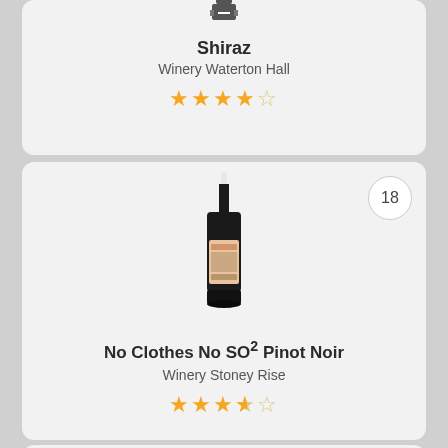[Figure (illustration): Wine bottle illustration (Shiraz, Winery Waterton Hall)]
Shiraz
Winery Waterton Hall
★★★★☆ (4 out of 5 stars)
[Figure (illustration): Wine bottle with label (No Clothes No SO2 Pinot Noir, Winery Stoney Rise), badge showing 18]
No Clothes No SO² Pinot Noir
Winery Stoney Rise
★★★½☆ (3.5 out of 5 stars)
[Figure (illustration): Wine bottle (partially visible), badge showing 19]